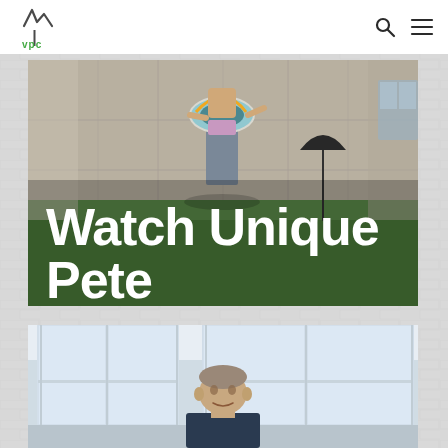VPC logo and navigation
[Figure (photo): Outdoor photo of a child holding a swim ring, standing on a patio/driveway with grass and a house in the background. White bold text overlay reads 'Watch Unique Pete'.]
Watch Unique Pete
[Figure (photo): Indoor portrait photo of a person standing near large windows.]